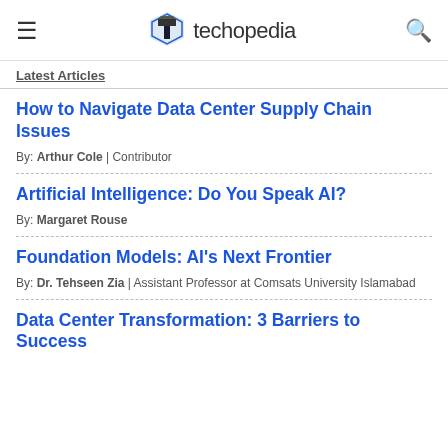techopedia
Latest Articles
How to Navigate Data Center Supply Chain Issues
By: Arthur Cole | Contributor
Artificial Intelligence: Do You Speak AI?
By: Margaret Rouse
Foundation Models: AI's Next Frontier
By: Dr. Tehseen Zia | Assistant Professor at Comsats University Islamabad
Data Center Transformation: 3 Barriers to Success